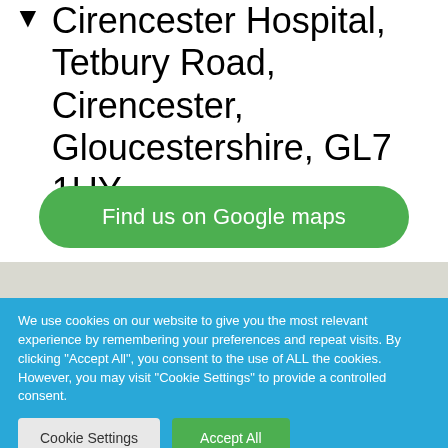Cirencester Hospital, Tetbury Road, Cirencester, Gloucestershire, GL7 1UY
Find us on Google maps
[Figure (map): Partial map strip visible behind cookie banner]
We use cookies on our website to give you the most relevant experience by remembering your preferences and repeat visits. By clicking "Accept All", you consent to the use of ALL the cookies. However, you may visit "Cookie Settings" to provide a controlled consent.
Cookie Settings
Accept All